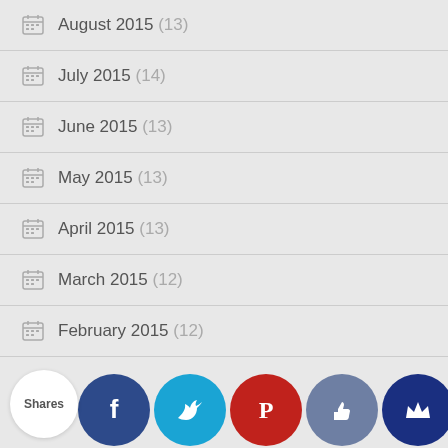August 2015 (13)
July 2015 (14)
June 2015 (13)
May 2015 (13)
April 2015 (13)
March 2015 (12)
February 2015 (12)
January 2015 (13)
December 2014 (15)
November ...  (11)